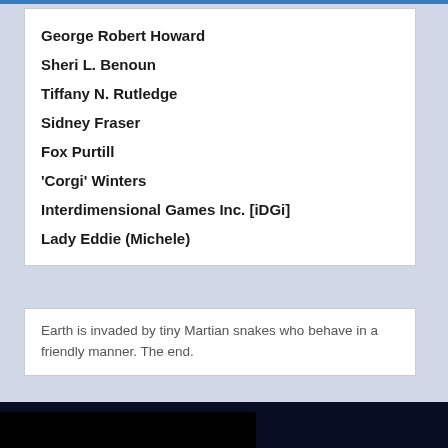George Robert Howard
Sheri L. Benoun
Tiffany N. Rutledge
Sidney Fraser
Fox Purtill
'Corgi' Winters
Interdimensional Games Inc. [iDGi]
Lady Eddie (Michele)
Earth is invaded by tiny Martian snakes who behave in a friendly manner. The end.